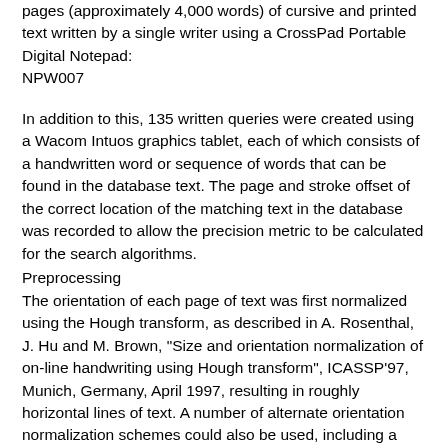pages (approximately 4,000 words) of cursive and printed text written by a single writer using a CrossPad Portable Digital Notepad:
NPW007
In addition to this, 135 written queries were created using a Wacom Intuos graphics tablet, each of which consists of a handwritten word or sequence of words that can be found in the database text. The page and stroke offset of the correct location of the matching text in the database was recorded to allow the precision metric to be calculated for the search algorithms.
Preprocessing
The orientation of each page of text was first normalized using the Hough transform, as described in A. Rosenthal, J. Hu and M. Brown, "Size and orientation normalization of on-line handwriting using Hough transform", ICASSP'97, Munich, Germany, April 1997, resulting in roughly horizontal lines of text. A number of alternate orientation normalization schemes could also be used, including a modified version of the procedure described in M. Morita, S. Games, J. Facon, F. Bortolozzi, J. Facon, and R. Sabourin, "Mathematical